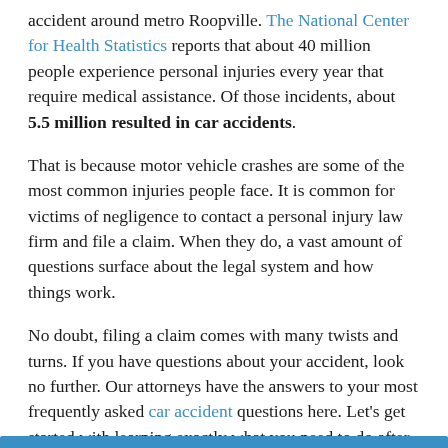accident around metro Roopville. The National Center for Health Statistics reports that about 40 million people experience personal injuries every year that require medical assistance. Of those incidents, about 5.5 million resulted in car accidents.
That is because motor vehicle crashes are some of the most common injuries people face. It is common for victims of negligence to contact a personal injury law firm and file a claim. When they do, a vast amount of questions surface about the legal system and how things work.
No doubt, filing a claim comes with many twists and turns. If you have questions about your accident, look no further. Our attorneys have the answers to your most frequently asked car accident questions here. Let’s get started with learning exactly what you need to do after an auto accident.